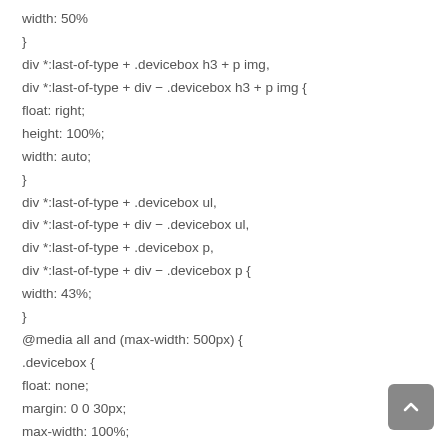width: 50%
}
div *:last-of-type + .devicebox h3 + p img,
div *:last-of-type + div ~ .devicebox h3 + p img {
float: right;
height: 100%;
width: auto;
}
div *:last-of-type + .devicebox ul,
div *:last-of-type + div ~ .devicebox ul,
div *:last-of-type + .devicebox p,
div *:last-of-type + div ~ .devicebox p {
width: 43%;
}
@media all and (max-width: 500px) {
.devicebox {
float: none;
margin: 0 0 30px;
max-width: 100%;
width: 100%;
}